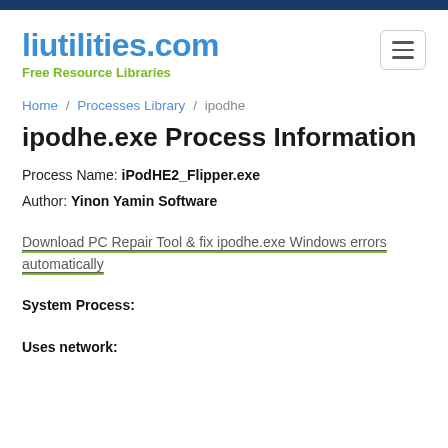liutilities.com
Free Resource Libraries
Home / Processes Library / ipodhe
ipodhe.exe Process Information
Process Name: iPodHE2_Flipper.exe
Author: Yinon Yamin Software
Download PC Repair Tool & fix ipodhe.exe Windows errors automatically
System Process:
Uses network: